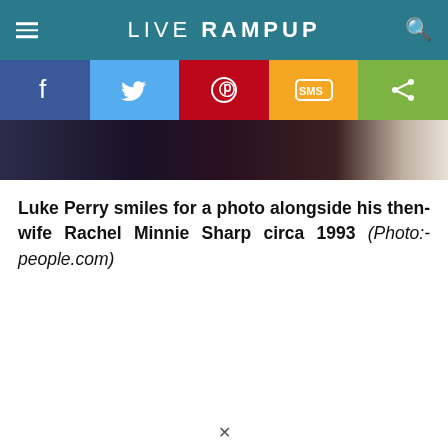LIVE RAMPUP
[Figure (infographic): Social sharing bar with Facebook (blue), Twitter (light blue), Pinterest (red), SMS (yellow/orange), and share (green) buttons]
[Figure (photo): Photo strip showing people in dark clothing, cropped bottom portion of a photo of Luke Perry and Rachel Minnie Sharp]
Luke Perry smiles for a photo alongside his then-wife Rachel Minnie Sharp circa 1993 (Photo:- people.com)